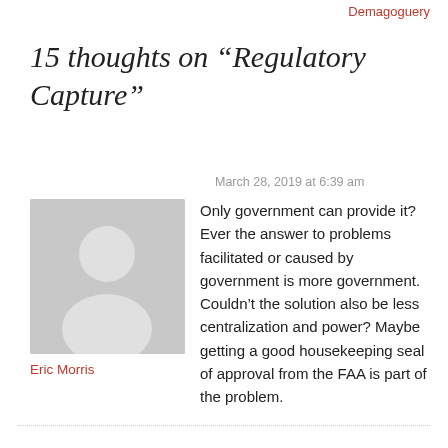Demagoguery
15 thoughts on “Regulatory Capture”
March 28, 2019 at 6:39 am
[Figure (illustration): Generic user avatar silhouette in grey]
Eric Morris
Only government can provide it? Ever the answer to problems facilitated or caused by government is more government. Couldn’t the solution also be less centralization and power? Maybe getting a good housekeeping seal of approval from the FAA is part of the problem.